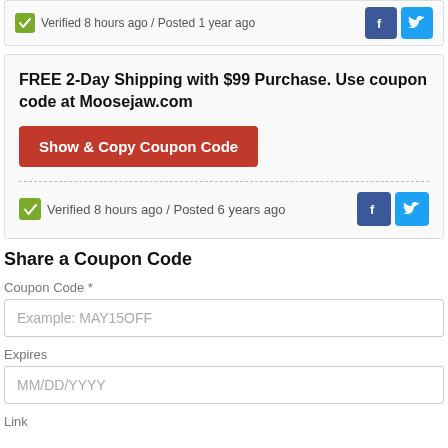Verified 8 hours ago / Posted 1 year ago
FREE 2-Day Shipping with $99 Purchase. Use coupon code at Moosejaw.com
Show & Copy Coupon Code
Verified 8 hours ago / Posted 6 years ago
Share a Coupon Code
Coupon Code *
Example: MAY15OFF
Expires
MM/DD/YYYY
Link